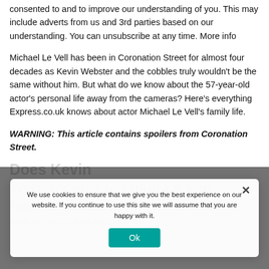consented to and to improve our understanding of you. This may include adverts from us and 3rd parties based on our understanding. You can unsubscribe at any time. More info
Michael Le Vell has been in Coronation Street for almost four decades as Kevin Webster and the cobbles truly wouldn't be the same without him. But what do we know about the 57-year-old actor's personal life away from the cameras? Here's everything Express.co.uk knows about actor Michael Le Vell's family life.
WARNING: This article contains spoilers from Coronation Street.
Does Kevin Webster star Michael Le Vell have children?
Kevin Webster actor Michael Le Vell...
We use cookies to ensure that we give you the best experience on our website. If you continue to use this site we will assume that you are happy with it.